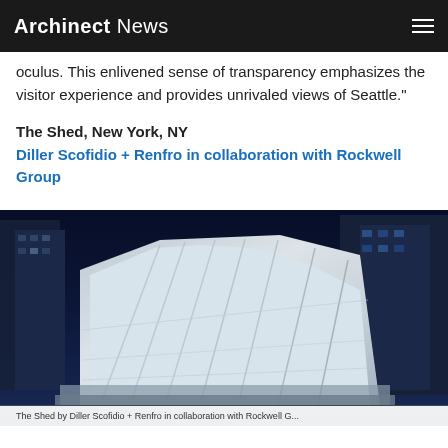Archinect News
oculus. This enlivened sense of transparency emphasizes the visitor experience and provides unrivaled views of Seattle."
The Shed, New York, NY
Diller Scofidio + Renfro in collaboration with Rockwell Group
[Figure (photo): Nighttime aerial photograph of The Shed building in New York, NY, showing its distinctive white angular cladding and metallic shell structure against a dark blue urban skyline with surrounding glass skyscrapers illuminated at night.]
The Shed by Diller Scofidio + Renfro in collaboration with Rockwell G...